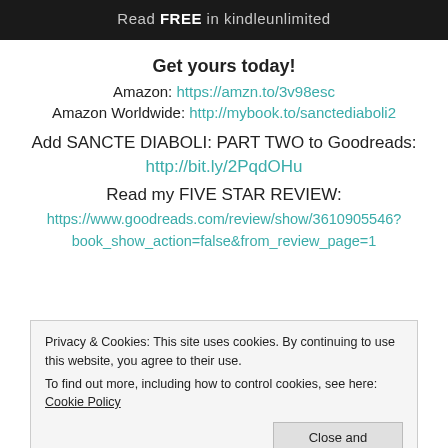[Figure (illustration): Dark banner with text 'Read FREE in kindleunlimited']
Get yours today!
Amazon: https://amzn.to/3v98esc
Amazon Worldwide: http://mybook.to/sanctediaboli2
Add SANCTE DIABOLI: PART TWO to Goodreads:
http://bit.ly/2PqdOHu
Read my FIVE STAR REVIEW:
https://www.goodreads.com/review/show/3610905546?book_show_action=false&from_review_page=1
Privacy & Cookies: This site uses cookies. By continuing to use this website, you agree to their use. To find out more, including how to control cookies, see here: Cookie Policy
Close and accept
Amazon Worldwide: http://mybook.to/sanctediaboli